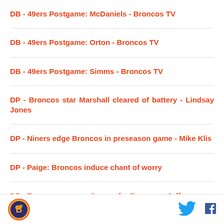DB - 49ers Postgame: McDaniels - Broncos TV
DB - 49ers Postgame: Orton - Broncos TV
DB - 49ers Postgame: Simms - Broncos TV
DP - Broncos star Marshall cleared of battery - Lindsay Jones
DP - Niners edge Broncos in preseason game - Mike Klis
DP - Paige: Broncos induce chant of worry
DP - Turnovers mar makeover for Broncos - Jeff
Logo | Twitter | Facebook